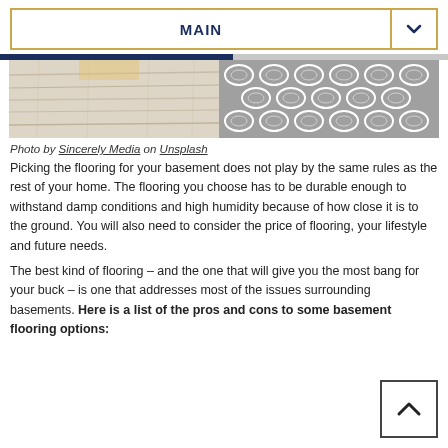MAIN
[Figure (photo): Photo strip showing two flooring textures: light wood/stone on the left and grey geometric patterned rug/tile on the right]
Photo by Sincerely Media on Unsplash
Picking the flooring for your basement does not play by the same rules as the rest of your home. The flooring you choose has to be durable enough to withstand damp conditions and high humidity because of how close it is to the ground. You will also need to consider the price of flooring, your lifestyle and future needs.
The best kind of flooring – and the one that will give you the most bang for your buck – is one that addresses most of the issues surrounding basements. Here is a list of the pros and cons to some basement flooring options: